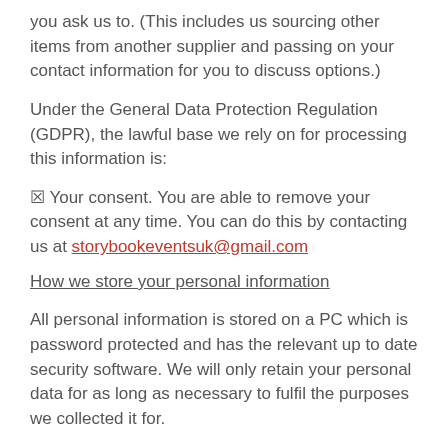you ask us to. (This includes us sourcing other items from another supplier and passing on your contact information for you to discuss options.)
Under the General Data Protection Regulation (GDPR), the lawful base we rely on for processing this information is:
☑ Your consent. You are able to remove your consent at any time. You can do this by contacting us at storybookeventsuk@gmail.com
How we store your personal information
All personal information is stored on a PC which is password protected and has the relevant up to date security software. We will only retain your personal data for as long as necessary to fulfil the purposes we collected it for.